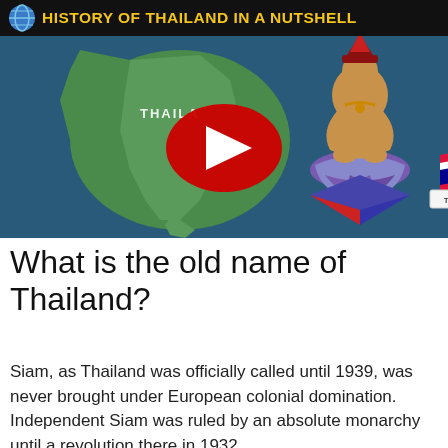[Figure (screenshot): YouTube video thumbnail for 'History of Thailand in a Nutshell' showing a map of Thailand with a Thai flag pin, and a traditional Thai deity figure seated in meditation pose. A red YouTube play button is centered on the thumbnail. A dark banner at the top reads 'HISTORY OF THAILAND IN A NUTSHELL' in yellow text with a globe icon.]
What is the old name of Thailand?
Siam, as Thailand was officially called until 1939, was never brought under European colonial domination. Independent Siam was ruled by an absolute monarchy until a revolution there in 1932.